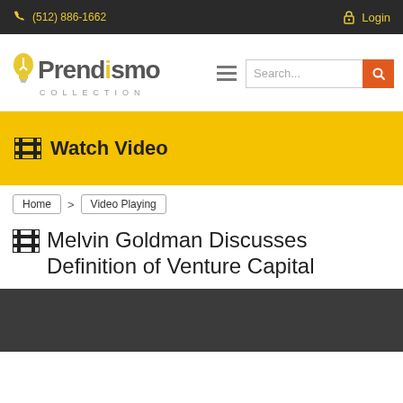(512) 886-1662  Login
[Figure (logo): Prendismo Collection logo with lightbulb icon]
Watch Video
Home > Video Playing
Melvin Goldman Discusses Definition of Venture Capital
[Figure (screenshot): Dark gray video player area]